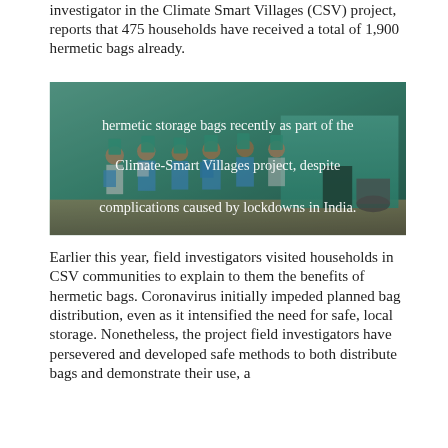investigator in the Climate Smart Villages (CSV) project, reports that 475 households have received a total of 1,900 hermetic bags already.
[Figure (photo): Group of people holding teal/green hermetic storage bags outside a building, with overlay text: 'hermetic storage bags recently as part of the Climate-Smart Villages project, despite complications caused by lockdowns in India.']
Earlier this year, field investigators visited households in CSV communities to explain to them the benefits of hermetic bags. Coronavirus initially impeded planned bag distribution, even as it intensified the need for safe, local storage. Nonetheless, the project field investigators have persevered and developed safe methods to both distribute bags and demonstrate their use, a